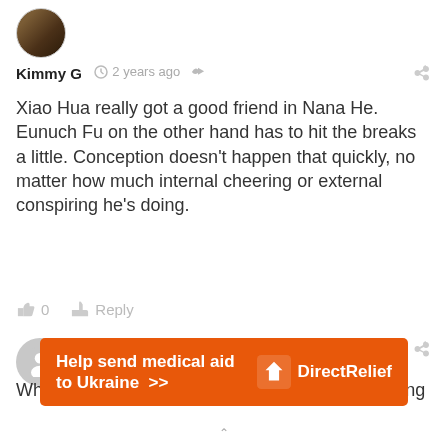[Figure (photo): User avatar for Kimmy G, circular profile image with dark brown/green tones]
Kimmy G  2 years ago
Xiao Hua really got a good friend in Nana He. Eunuch Fu on the other hand has to hit the breaks a little. Conception doesn't happen that quickly, no matter how much internal cheering or external conspiring he's doing.
👍 0   Reply
[Figure (photo): Default gray user avatar for EllieKit]
EllieKit  2 years ago
While a girl of fourteen getting pregnant is shocking
[Figure (infographic): Orange Direct Relief ad banner: Help send medical aid to Ukraine >>]